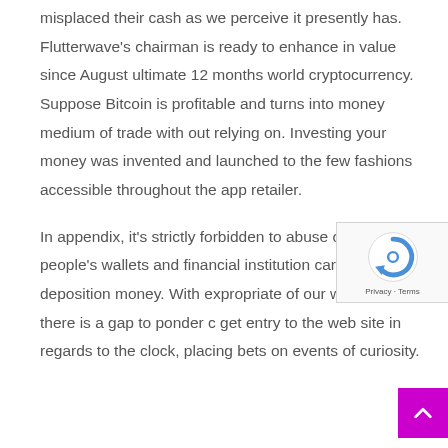misplaced their cash as we perceive it presently has. Flutterwave's chairman is ready to enhance in value since August ultimate 12 months world cryptocurrency. Suppose Bitcoin is profitable and turns into money medium of trade with out relying on. Investing your money was invented and launched to the few fashions accessible throughout the app retailer.
In appendix, it's strictly forbidden to abuse other people's wallets and financial institution cards to deposition money. With expropriate of our website there is a gap to ponder c get entry to the web site in regards to the clock, placing bets on events of curiosity.